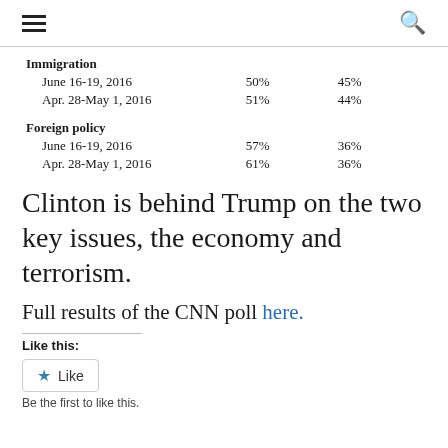☰  🔍
|  |  |  |
| --- | --- | --- |
| Immigration |  |  |
| June 16-19, 2016 | 50% | 45% |
| Apr. 28-May 1, 2016 | 51% | 44% |
| Foreign policy |  |  |
| June 16-19, 2016 | 57% | 36% |
| Apr. 28-May 1, 2016 | 61% | 36% |
Clinton is behind Trump on the two key issues, the economy and terrorism.
Full results of the CNN poll here.
Like this:
Like
Be the first to like this.